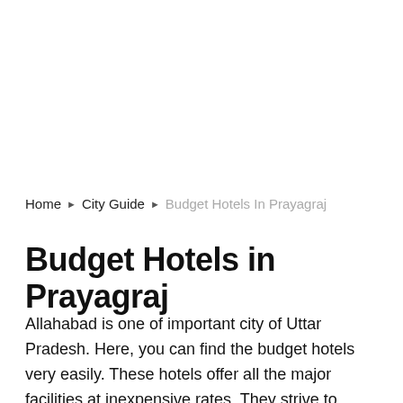Home ▶ City Guide ▶ Budget Hotels In Prayagraj
Budget Hotels in Prayagraj
Allahabad is one of important city of Uttar Pradesh. Here, you can find the budget hotels very easily. These hotels offer all the major facilities at inexpensive rates. They strive to provide extra facilities and the better standard of service to their customers. The budget